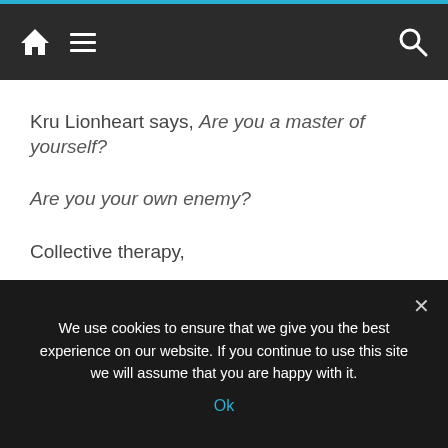Navigation header with home, menu, and search icons
Kru Lionheart says, Are you a master of yourself?

Are you your own enemy?

Collective therapy,

no longer a victim,

a victor takes responsibility,

lessons transition,
We use cookies to ensure that we give you the best experience on our website. If you continue to use this site we will assume that you are happy with it. Ok